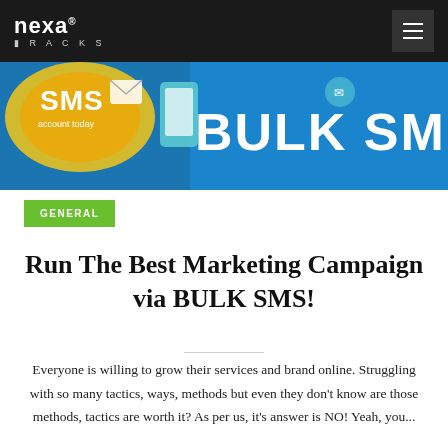Nexa Racks
[Figure (illustration): Banner image showing SMS/Bulk SMS marketing graphic with phone icons, email icons, and large text reading BULK SMS on a blue background]
GENERAL
Run The Best Marketing Campaign via BULK SMS!
Everyone is willing to grow their services and brand online. Struggling with so many tactics, ways, methods but even they don't know are those methods, tactics are worth it? As per us, it's answer is NO! Yeah, you...